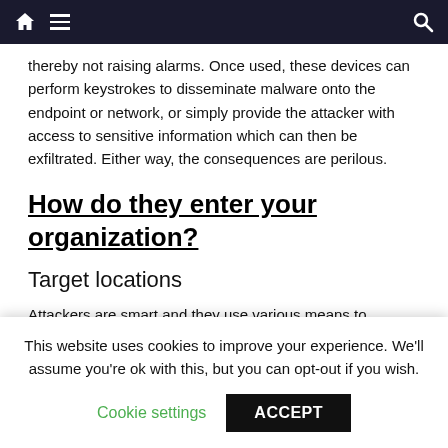Navigation bar with home, menu, and search icons
thereby not raising alarms. Once used, these devices can perform keystrokes to disseminate malware onto the endpoint or network, or simply provide the attacker with access to sensitive information which can then be exfiltrated. Either way, the consequences are perilous.
How do they enter your organization?
Target locations
Attackers are smart and they use various means to
This website uses cookies to improve your experience. We'll assume you're ok with this, but you can opt-out if you wish.
Cookie settings   ACCEPT